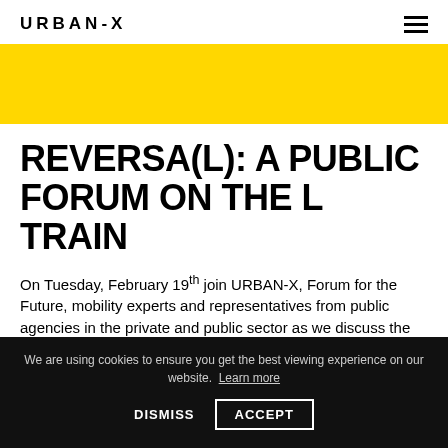URBAN-X
[Figure (other): Yellow banner / hero image background]
REVERSA(L): A PUBLIC FORUM ON THE L TRAIN
On Tuesday, February 19th join URBAN-X, Forum for the Future, mobility experts and representatives from public agencies in the private and public sector as we discuss the future of the L-train and how to reimagine mobility and transportation for cities. Together, we'll unravel how daily commutes are affected, consider new ideas and alternative
We are using cookies to ensure you get the best viewing experience on our website. Learn more  DISMISS  ACCEPT